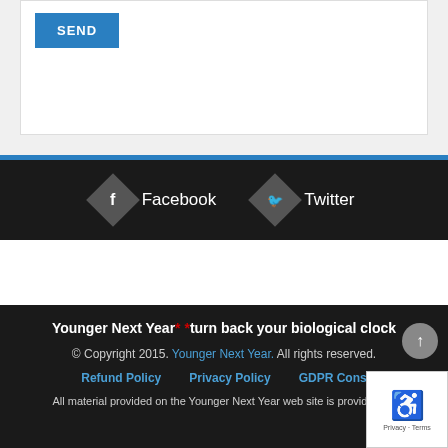[Figure (screenshot): Top white form box with a blue SEND button]
[Figure (screenshot): Dark social bar with Facebook and Twitter icons (diamond shape)]
Younger Next Year** *turn back your biological clock
© Copyright 2015. Younger Next Year. All rights reserved.
Refund Policy   Privacy Policy   GDPR Cons...
All material provided on the Younger Next Year web site is provided for